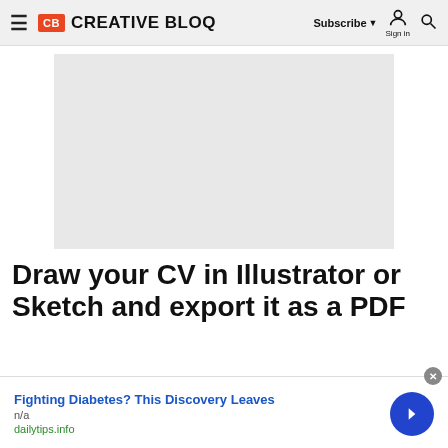Creative Bloq — Subscribe | Sign in | Search
[Figure (other): Gray placeholder advertisement image]
Draw your CV in Illustrator or Sketch and export it as a PDF
Fighting Diabetes? This Discovery Leaves
n/a
dailytips.info